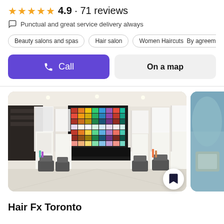4.9 · 71 reviews
Punctual and great service delivery always
Beauty salons and spas
Hair salon
Women Haircuts  By agreement
Call
On a map
[Figure (photo): Interior of a modern hair salon with white styling stations, illuminated mirrors, grey chairs, and a colorful product display wall in the background]
[Figure (photo): Partial view of a second photo, appearing to show abstract blue/teal tones]
Hair Fx Toronto